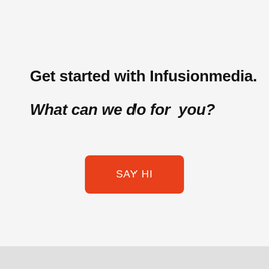Get started with Infusionmedia.
What can we do for you?
[Figure (other): Orange rounded rectangle button with white text reading SAY HI]